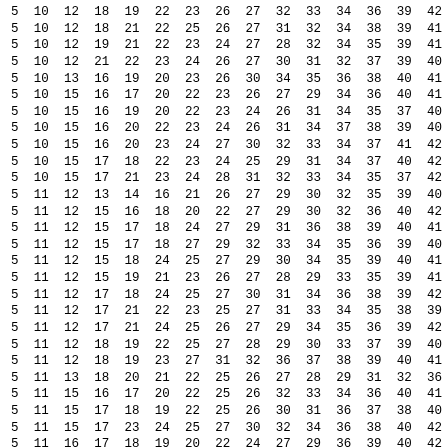| 5 | 10 | 12 | 18 | 19 | 22 | 23 | 26 | 27 | 32 | 33 | 34 | 36 | 39 | 42 |
| 5 | 10 | 12 | 18 | 21 | 22 | 25 | 26 | 27 | 31 | 32 | 34 | 38 | 39 | 41 |
| 5 | 10 | 12 | 19 | 21 | 22 | 23 | 24 | 27 | 28 | 32 | 34 | 35 | 39 | 41 |
| 5 | 10 | 12 | 21 | 22 | 23 | 24 | 26 | 27 | 30 | 31 | 32 | 37 | 39 | 40 |
| 5 | 10 | 13 | 16 | 19 | 20 | 23 | 26 | 30 | 34 | 35 | 36 | 38 | 40 | 41 |
| 5 | 10 | 15 | 16 | 17 | 20 | 22 | 23 | 26 | 27 | 29 | 34 | 36 | 40 | 41 |
| 5 | 10 | 15 | 16 | 19 | 20 | 22 | 23 | 24 | 26 | 31 | 34 | 35 | 37 | 40 |
| 5 | 10 | 15 | 16 | 20 | 22 | 23 | 24 | 26 | 31 | 34 | 37 | 38 | 39 | 40 |
| 5 | 10 | 15 | 16 | 20 | 23 | 24 | 27 | 30 | 32 | 33 | 34 | 37 | 41 | 42 |
| 5 | 10 | 15 | 17 | 18 | 22 | 23 | 24 | 25 | 29 | 31 | 34 | 37 | 40 | 42 |
| 5 | 10 | 15 | 17 | 21 | 23 | 24 | 28 | 31 | 32 | 33 | 34 | 35 | 37 | 42 |
| 5 | 11 | 12 | 13 | 14 | 16 | 21 | 26 | 27 | 29 | 30 | 32 | 35 | 39 | 40 |
| 5 | 11 | 12 | 15 | 16 | 18 | 20 | 22 | 27 | 29 | 30 | 32 | 36 | 40 | 42 |
| 5 | 11 | 12 | 15 | 17 | 18 | 24 | 27 | 29 | 31 | 36 | 38 | 39 | 40 | 41 |
| 5 | 11 | 12 | 15 | 17 | 18 | 27 | 29 | 32 | 33 | 34 | 35 | 36 | 39 | 40 |
| 5 | 11 | 12 | 15 | 18 | 24 | 25 | 27 | 29 | 30 | 34 | 35 | 39 | 40 | 41 |
| 5 | 11 | 12 | 15 | 19 | 21 | 23 | 26 | 27 | 28 | 29 | 33 | 35 | 39 | 41 |
| 5 | 11 | 12 | 17 | 18 | 24 | 25 | 27 | 30 | 31 | 34 | 36 | 38 | 39 | 42 |
| 5 | 11 | 12 | 17 | 21 | 22 | 23 | 25 | 27 | 31 | 33 | 34 | 35 | 38 | 39 |
| 5 | 11 | 12 | 17 | 21 | 24 | 25 | 26 | 27 | 29 | 34 | 35 | 36 | 39 | 42 |
| 5 | 11 | 12 | 18 | 19 | 22 | 25 | 27 | 28 | 29 | 30 | 33 | 37 | 39 | 40 |
| 5 | 11 | 12 | 18 | 19 | 23 | 27 | 31 | 32 | 36 | 37 | 38 | 39 | 40 | 41 |
| 5 | 11 | 13 | 18 | 20 | 21 | 22 | 25 | 26 | 27 | 28 | 29 | 31 | 32 | 36 |
| 5 | 11 | 15 | 16 | 17 | 20 | 22 | 25 | 26 | 32 | 33 | 34 | 36 | 40 | 41 |
| 5 | 11 | 15 | 17 | 18 | 19 | 22 | 25 | 26 | 30 | 31 | 36 | 37 | 38 | 40 |
| 5 | 11 | 15 | 17 | 23 | 24 | 25 | 27 | 30 | 32 | 34 | 36 | 38 | 40 | 42 |
| 5 | 11 | 16 | 17 | 18 | 19 | 20 | 22 | 24 | 27 | 29 | 36 | 39 | 40 | 42 |
| 5 | 11 | 16 | 17 | 18 | 20 | 21 | 22 | 24 | 27 | 29 | 35 | 36 | 40 | 42 |
| 5 | 11 | 16 | 17 | 19 | 20 | 21 | 22 | 23 | 29 | 31 | 32 | 35 | 37 | 39 |
| 5 | 11 | 16 | 18 | 20 | 22 | 23 | 25 | 26 | 27 | 29 | 32 | 33 | 37 | 41 |